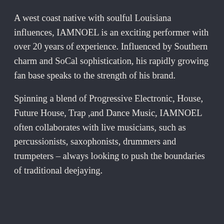A west coast native with soulful Louisiana influences, IAMNOEL is an exciting performer with over 20 years of experience. Influenced by Southern charm and SoCal sophistication, his rapidly growing fan base speaks to the strength of his brand.
Spinning a blend of Progressive Electronic, House, Future House, Trap ,and Dance Music, IAMNOEL often collaborates with live musicians, such as percussionists, saxophonists, drummers and trumpeters – always looking to push the boundaries of traditional deejaying.